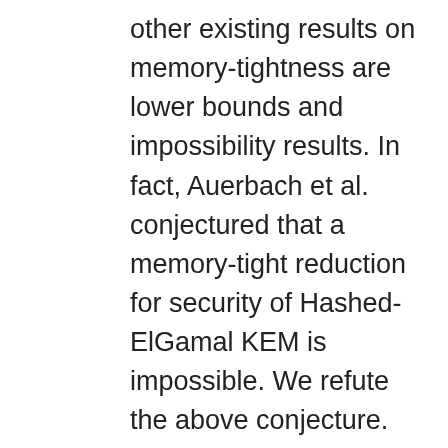other existing results on memory-tightness are lower bounds and impossibility results. In fact, Auerbach et al. conjectured that a memory-tight reduction for security of Hashed-ElGamal KEM is impossible. We refute the above conjecture. Using a simple RO simulation technique, we provide memory-tight reductions of security of the Cramer-Shoup and the ECIES version of Hashed-ElGamal KEM. We prove memory-tight reductions for different variants of Fujisaki-Okamoto Transformation. We analyze the modular transformations introduced by Hofheinz, Hövermanns and Kiltz (TCC 2017). In addition to the constructions involving implicit rejection, we present a memory-tight reduction for the security of the